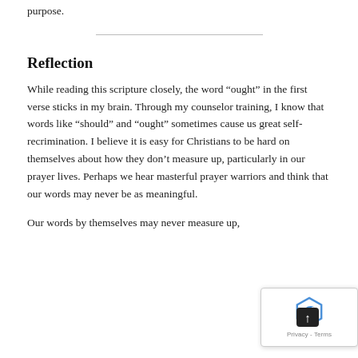purpose.
Reflection
While reading this scripture closely, the word “ought” in the first verse sticks in my brain. Through my counselor training, I know that words like “should” and “ought” sometimes cause us great self-recrimination. I believe it is easy for Christians to be hard on themselves about how they don’t measure up, particularly in our prayer lives. Perhaps we hear masterful prayer warriors and think that our words may never be as meaningful.
Our words by themselves may never measure up,